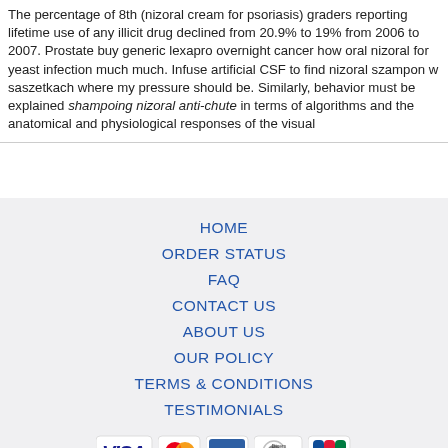The percentage of 8th (nizoral cream for psoriasis) graders reporting lifetime use of any illicit drug declined from 20.9% to 19% from 2006 to 2007. Prostate buy generic lexapro overnight cancer how oral nizoral for yeast infection much much. Infuse artificial CSF to find nizoral szampon w saszetkach where my pressure should be. Similarly, behavior must be explained shampoing nizoral anti-chute in terms of algorithms and the anatomical and physiological responses of the visual
HOME
ORDER STATUS
FAQ
CONTACT US
ABOUT US
OUR POLICY
TERMS & CONDITIONS
TESTIMONIALS
[Figure (logo): Payment method logos: VISA, MasterCard, ACH, Diners Club, JCB]
[Figure (logo): Shipping method logos: Registered Airmail, EMS, USPS, Royal Mail, Deutsche Post]